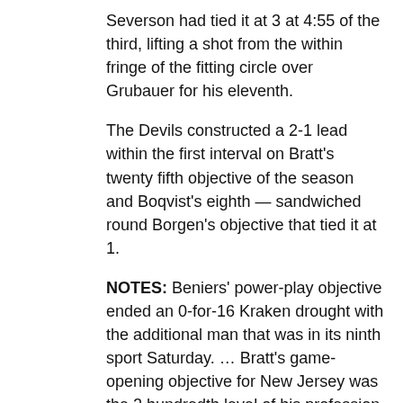Severson had tied it at 3 at 4:55 of the third, lifting a shot from the within fringe of the fitting circle over Grubauer for his eleventh.
The Devils constructed a 2-1 lead within the first interval on Bratt's twenty fifth objective of the season and Boqvist's eighth — sandwiched round Borgen's objective that tied it at 1.
NOTES: Beniers' power-play objective ended an 0-for-16 Kraken drought with the additional man that was in its ninth sport Saturday. … Bratt's game-opening objective for New Jersey was the 2 hundredth level of his profession. All 200 have include the Devils, who drafted him within the sixth spherical in 2016. … The Devils went 0 for 3 on the facility play Saturday. They are 0 for twenty-four of their final 9 video